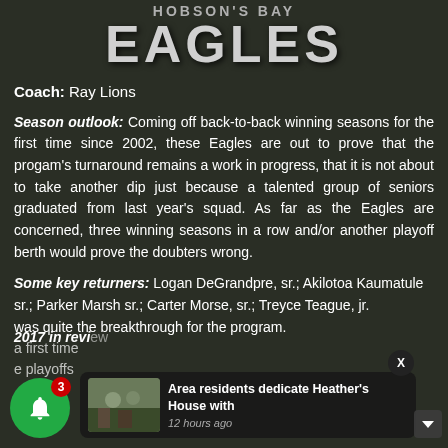HOBSON'S BAY EAGLES
Coach: Ray Lions
Season outlook: Coming off back-to-back winning seasons for the first time since 2002, these Eagles are out to prove that the progam's turnaround remains a work in progress, that it is not about to take another dip just because a talented group of seniors graduated from last year's squad. As far as the Eagles are concerned, three winning seasons in a row and/or another playoff berth would prove the doubters wrong.
Some key returners: Logan DeGrandpre, sr.; Akilotoa Kaumatule sr.; Parker Marsh sr.; Carter Morse, sr.; Treyce Teague, jr.
2017 in revi[ew]... first time... playoffs... was quite the breakthrough for the program.
[Figure (screenshot): Push notification toast overlay showing news article 'Area residents dedicate Heather's House with' from 12 hours ago, with a thumbnail image of people outdoors.]